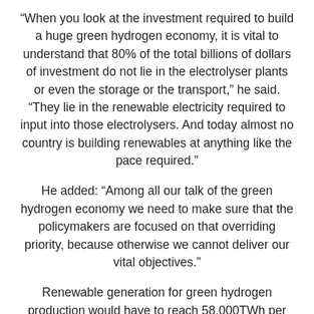“When you look at the investment required to build a huge green hydrogen economy, it is vital to understand that 80% of the total billions of dollars of investment do not lie in the electrolyser plants or even the storage or the transport,” he said. “They lie in the renewable electricity required to input into those electrolysers. And today almost no country is building renewables at anything like the pace required.”
He added: “Among all our talk of the green hydrogen economy we need to make sure that the policymakers are focused on that overriding priority, because otherwise we cannot deliver our vital objectives.”
Renewable generation for green hydrogen production would have to reach 58,000TWh per year by 2050, ETC’s analysis suggests, over double today’s total global annual electricity demand of 27,000TWh.